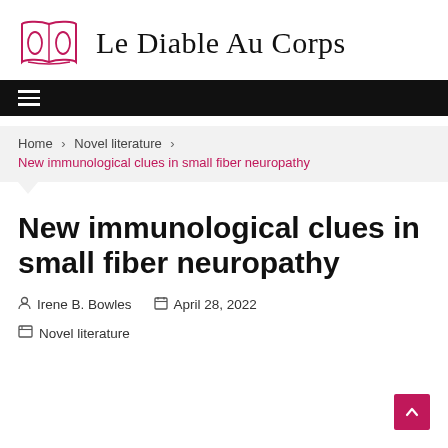Le Diable Au Corps
Home > Novel literature > New immunological clues in small fiber neuropathy
New immunological clues in small fiber neuropathy
Irene B. Bowles   April 28, 2022
Novel literature